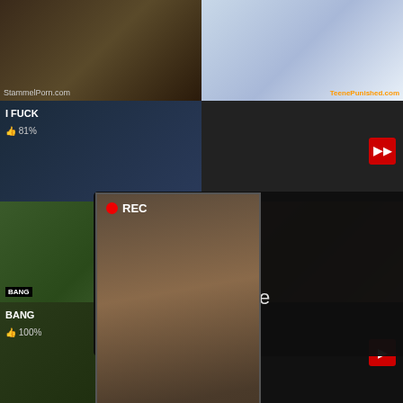[Figure (screenshot): Adult video website screenshot with multiple video thumbnails and two overlay advertisements: a dating ad popup and a missed call audio ad popup]
ADS • 🔥 Dating for men! Find bad girls here 🔥
REC
ADS
(1)Missed Call from Eliza
pleeease call me back.. I miss you!
0:00  3:23